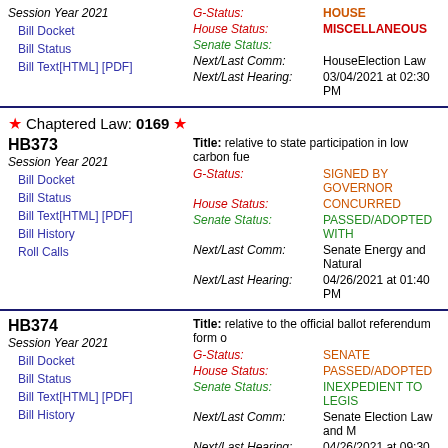Session Year 2021
Bill Docket
Bill Status
Bill Text[HTML] [PDF]
G-Status: HOUSE
House Status: MISCELLANEOUS
Senate Status:
Next/Last Comm: HouseElection Law
Next/Last Hearing: 03/04/2021 at 02:30 PM
Chaptered Law: 0169
HB373
Session Year 2021
Bill Docket
Bill Status
Bill Text[HTML] [PDF]
Bill History
Roll Calls
Title: relative to state participation in low carbon fue
G-Status: SIGNED BY GOVERNOR
House Status: CONCURRED
Senate Status: PASSED/ADOPTED WITH
Next/Last Comm: Senate Energy and Natural
Next/Last Hearing: 04/26/2021 at 01:40 PM
HB374
Session Year 2021
Bill Docket
Bill Status
Bill Text[HTML] [PDF]
Bill History
Title: relative to the official ballot referendum form o
G-Status: SENATE
House Status: PASSED/ADOPTED
Senate Status: INEXPEDIENT TO LEGIS
Next/Last Comm: Senate Election Law and M
Next/Last Hearing: 04/26/2021 at 09:30 AM
Chaptered Law: 0140